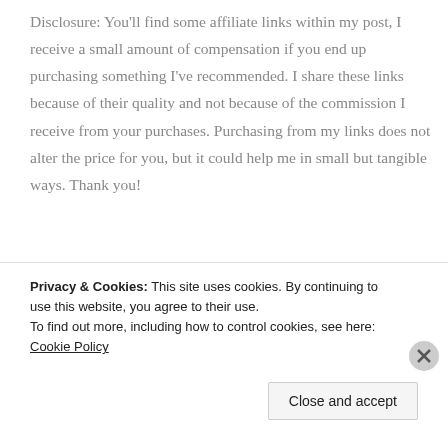Disclosure: You'll find some affiliate links within my post, I receive a small amount of compensation if you end up purchasing something I've recommended. I share these links because of their quality and not because of the commission I receive from your purchases. Purchasing from my links does not alter the price for you, but it could help me in small but tangible ways. Thank you!
[Figure (illustration): Partial view of a colorful Raspberry Creek Fabrics banner with illustrated summer items including watermelons, rainbows, and other colorful shapes on a light blue background.]
Privacy & Cookies: This site uses cookies. By continuing to use this website, you agree to their use.
To find out more, including how to control cookies, see here: Cookie Policy